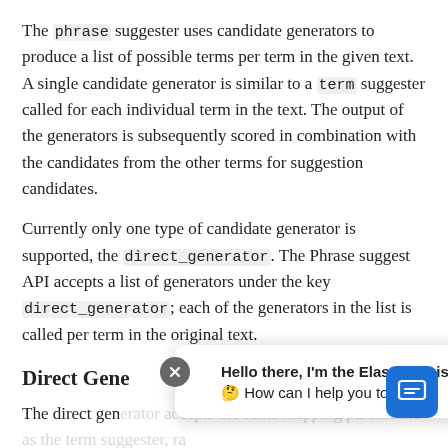The phrase suggester uses candidate generators to produce a list of possible terms per term in the given text. A single candidate generator is similar to a term suggester called for each individual term in the text. The output of the generators is subsequently scored in combination with the candidates from the other terms for suggestion candidates.
Currently only one type of candidate generator is supported, the direct_generator. The Phrase suggest API accepts a list of generators under the key direct_generator; each of the generators in the list is called per term in the original text.
Direct Generators
The direct gen... ra...